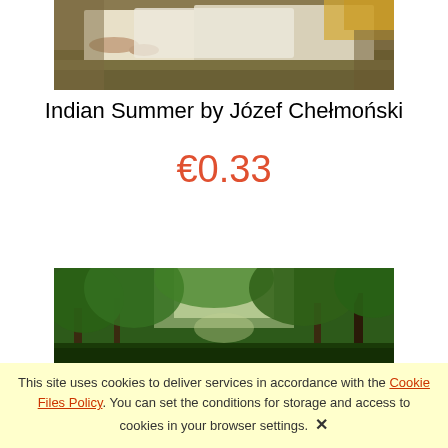[Figure (photo): Cropped painting showing figures lying on grass, appears to be Indian Summer painting by Józef Chełmoński - top portion showing feet and reclining figures in white clothing on a field]
Indian Summer by Józef Chełmoński
€0.33
[Figure (photo): Cropped painting showing a lush green forest scene with trees and foliage, bottom portion of Indian Summer or related painting]
This site uses cookies to deliver services in accordance with the Cookie Files Policy. You can set the conditions for storage and access to cookies in your browser settings. ✕